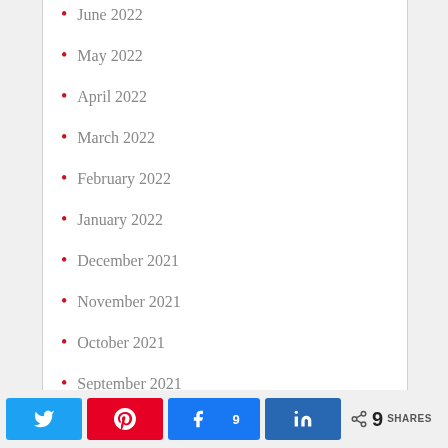June 2022
May 2022
April 2022
March 2022
February 2022
January 2022
December 2021
November 2021
October 2021
September 2021
August 2021
June 2021
Twitter  Pinterest  Facebook 9  LinkedIn  < 9 SHARES